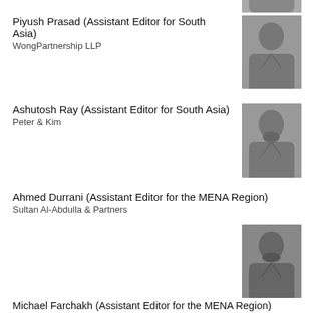Piyush Prasad (Assistant Editor for South Asia)
WongPartnership LLP
[Figure (photo): Black and white headshot of Piyush Prasad]
Ashutosh Ray (Assistant Editor for South Asia)
Peter & Kim
[Figure (photo): Black and white headshot of Ashutosh Ray]
Ahmed Durrani (Assistant Editor for the MENA Region)
Sultan Al-Abdulla & Partners
[Figure (photo): Black and white headshot of Ahmed Durrani]
Michael Farchakh (Assistant Editor for the MENA Region)
Hadef & Partners
[Figure (photo): Black and white headshot of Michael Farchakh]
Khushboo Shahdadpuri (Assistant Editor for the MENA Region)
Al Tamimi & Company
[Figure (photo): Black and white headshot of Khushboo Shahdadpuri (partially visible)]